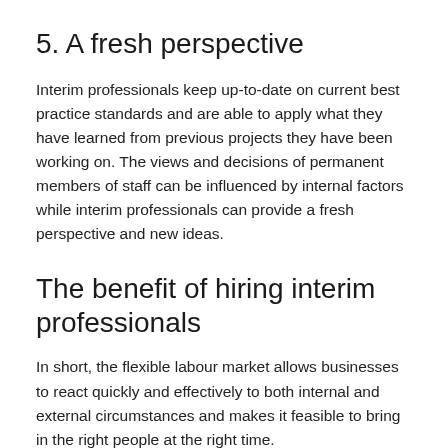5. A fresh perspective
Interim professionals keep up-to-date on current best practice standards and are able to apply what they have learned from previous projects they have been working on. The views and decisions of permanent members of staff can be influenced by internal factors while interim professionals can provide a fresh perspective and new ideas.
The benefit of hiring interim professionals
In short, the flexible labour market allows businesses to react quickly and effectively to both internal and external circumstances and makes it feasible to bring in the right people at the right time.
With efficiency still high on the agenda at many firms,